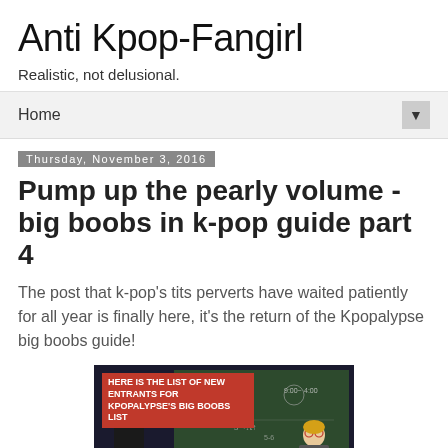Anti Kpop-Fangirl
Realistic, not delusional.
Home ▼
Thursday, November 3, 2016
Pump up the pearly volume - big boobs in k-pop guide part 4
The post that k-pop's tits perverts have waited patiently for all year is finally here, it's the return of the Kpopalypse big boobs guide!
[Figure (screenshot): Video thumbnail showing two people at a chalkboard with a red overlay text reading 'HERE IS THE LIST OF NEW ENTRANTS FOR KPOPALYPSE'S BIG BOOBS LIST']